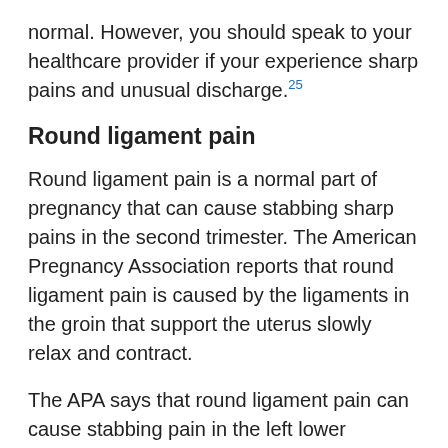normal. However, you should speak to your healthcare provider if your experience sharp pains and unusual discharge.25
Round ligament pain
Round ligament pain is a normal part of pregnancy that can cause stabbing sharp pains in the second trimester. The American Pregnancy Association reports that round ligament pain is caused by the ligaments in the groin that support the uterus slowly relax and contract.
The APA says that round ligament pain can cause stabbing pain in the left lower abdomen or right lower abdomen. However, the pain should only last a few seconds and not turn into dull cramping abdominal aches.26